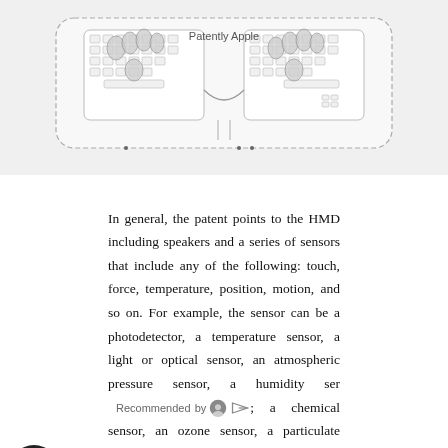[Figure (illustration): Patent diagram showing a split ergonomic keyboard for an HMD device. Two keyboard halves with oval-shaped key highlights, on a dashed-border device outline. Watermark reads 'Patently Apple'.]
In general, the patent points to the HMD including speakers and a series of sensors that include any of the following: touch, force, temperature, position, motion, and so on. For example, the sensor can be a photodetector, a temperature sensor, a light or optical sensor, an atmospheric pressure sensor, a humidity sensor, a chemical sensor, an ozone sensor, a particulate counter sensor, and so on. By further example, the sensor